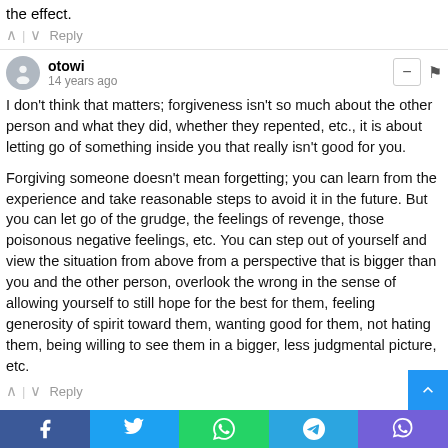the effect.
^ | v   Reply
otowi
14 years ago
I don't think that matters; forgiveness isn't so much about the other person and what they did, whether they repented, etc., it is about letting go of something inside you that really isn't good for you.

Forgiving someone doesn't mean forgetting; you can learn from the experience and take reasonable steps to avoid it in the future. But you can let go of the grudge, the feelings of revenge, those poisonous negative feelings, etc. You can step out of yourself and view the situation from above from a perspective that is bigger than you and the other person, overlook the wrong in the sense of allowing yourself to still hope for the best for them, feeling generosity of spirit toward them, wanting good for them, not hating them, being willing to see them in a bigger, less judgmental picture, etc.
^ | v   Reply